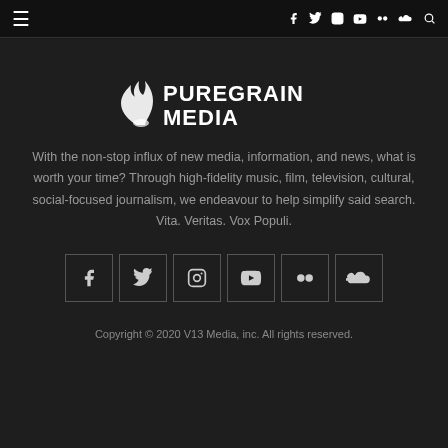Navigation bar with hamburger menu and social icons: facebook, twitter, instagram, youtube, flickr, soundcloud, search
[Figure (logo): PureGrainMedia 190 Proof Publishing logo with flame icon]
With the non-stop influx of new media, information, and news, what is worth your time? Through high-fidelity music, film, television, cultural, social-focused journalism, we endeavour to help simplify said search. Vita. Veritas. Vox Populi.
[Figure (infographic): Row of 6 social media icon boxes: facebook, twitter, instagram, youtube, flickr, soundcloud]
Copyright © 2020 V13 Media, inc. All rights reserved.